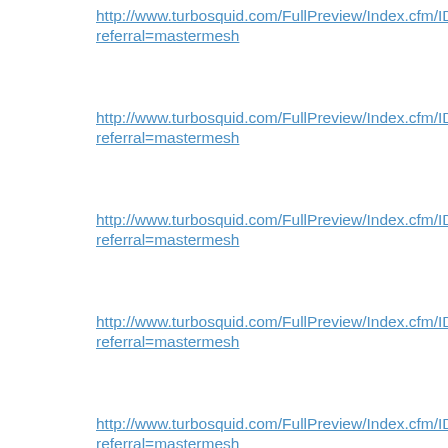http://www.turbosquid.com/FullPreview/Index.cfm/ID/278111scrapes referral=mastermesh
http://www.turbosquid.com/FullPreview/Index.cfm/ID/278113scrapes referral=mastermesh
http://www.turbosquid.com/FullPreview/Index.cfm/ID/278114scrapes referral=mastermesh
http://www.turbosquid.com/FullPreview/Index.cfm/ID/278115scrapes referral=mastermesh
http://www.turbosquid.com/FullPreview/Index.cfm/ID/278116scrapes referral=mastermesh
http://www.turbosquid.com/FullPreview/Index.cfm/ID/278117scrapes referral=mastermesh
http://www.turbosquid.com/FullPreview/Index.cfm/ID/278118scrapes referral=mastermesh
Privacy & Cookies: This site uses cookies. By continuing to use this website, you agree to their use.
To find out more, including how to control cookies, see here: Cookie Policy
http://www.turbosquid.com/FullPreview/Index.cfm/ID/278123scrapes